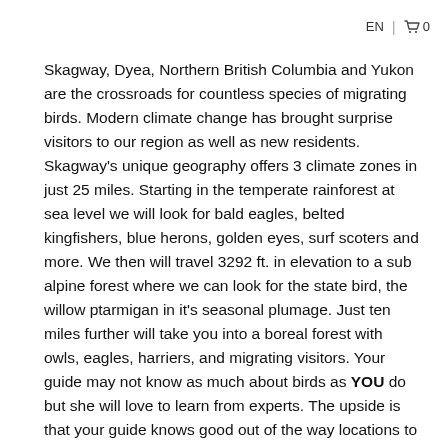EN | 🛒 0
Skagway, Dyea, Northern British Columbia and Yukon are the crossroads for countless species of migrating birds.  Modern climate change has brought surprise visitors to our region as well as new residents.   Skagway's unique geography offers 3 climate zones in just 25 miles.  Starting in the temperate rainforest at sea level we will look for bald eagles, belted kingfishers, blue herons, golden eyes, surf scoters and more.   We then will travel 3292 ft. in elevation to a sub alpine forest where we can look for the state bird, the willow ptarmigan in it's seasonal plumage.  Just ten miles further will take you into a boreal forest with owls, eagles, harriers, and migrating visitors.  Your guide may not know as much about birds as YOU do but she will love to learn from experts.  The upside is that your guide knows good out of the way locations to sit and observe without being bombarded by giant diesel buses.
This tour includes a spotting scope, tripod, regional bird books, camp chairs, and extra binoculars to share so you can travel